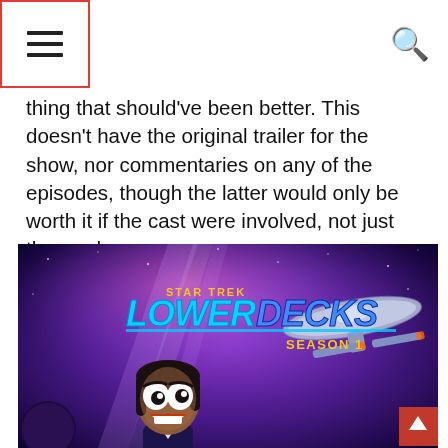[hamburger menu icon] [search icon]
thing that should've been better. This doesn't have the original trailer for the show, nor commentaries on any of the episodes, though the latter would only be worth it if the cast were involved, not just the producers.
[Figure (photo): Star Trek: Lower Decks Season 1 promotional poster featuring an animated character (ensign with dark hair) in a Starfleet uniform smiling, with a starship and space background in purple and blue tones. Bold stylized text reads 'STAR TREK LOWER DECKS SEASON 1'.]